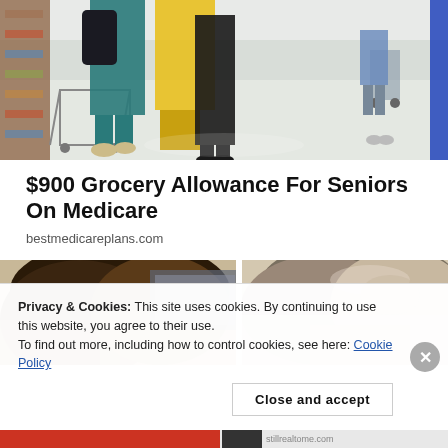[Figure (photo): Photograph of elderly shoppers in a grocery store aisle, seen from behind, with shopping carts and store shelves visible]
$900 Grocery Allowance For Seniors On Medicare
bestmedicareplans.com
[Figure (photo): Two partial photos side by side showing close-up views of people's hair — dark blonde hair on the left, gray-streaked hair on the right]
Privacy & Cookies: This site uses cookies. By continuing to use this website, you agree to their use.
To find out more, including how to control cookies, see here: Cookie Policy
Close and accept